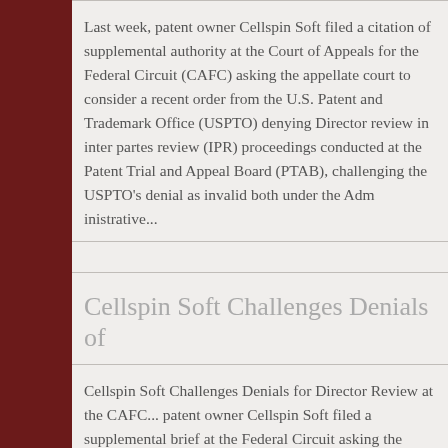Last week, patent owner Cellspin Soft filed a citation of supplemental authority at the Court of Appeals for the Federal Circuit (CAFC) asking the appellate court to consider a recent order from the U.S. Patent and Trademark Office (USPTO) denying Director review in inter partes review (IPR) proceedings conducted at the Patent Trial and Appeal Board (PTAB), challenging the USPTO's denial as invalid both under the Administrative...
Cellspin Soft Challenges Denials of...
Cellspin Soft Challenges Denials for Director Review at the CAFC... patent owner Cellspin Soft filed a supplemental brief at the Federal Circuit asking the court to vacate and remand denials for Director review of final written decisions by the Patent Trial and Appeal Board PTAB. Cellspin is challenging the validity of the order under the Supreme Court's decision in United States v. Arthrex, and for violations of the Administrative Procedures A...